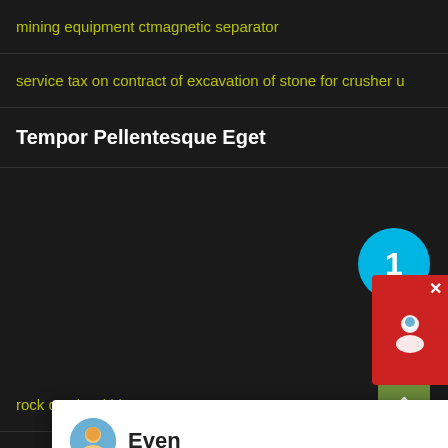mining equipment ctmagnetic separator
service tax on contract of excavation of stone for crusher u
Tempor Pellentesque Eget
[Figure (other): Live chat popup with avatar of agent named Even, message: Hello, I am Even, I am very glad to talk with you!]
rock crusher kidney stone
ball mill vitrified tiles
mining cart pictures